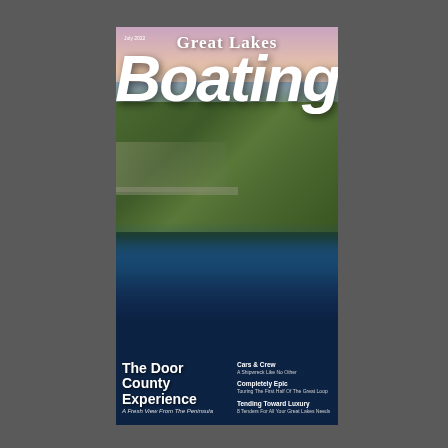[Figure (photo): Magazine cover of Great Lakes Boating, July 2022 issue. Features an aerial photograph of Door County, Wisconsin peninsula showing marina, dense tree coverage, shoreline, and blue lake water under a sunset/twilight sky. White bold 'Great Lakes Boating' title overlaid at top.]
Great Lakes Boating
July 2022
The Door County Experience
A Fresh View From The Peninsula
Cars & Crew
A Shipwreck Like No Other
Completely Epic
Touring The First Half Of The Great Loop
Tending Toward Luxury
8 Tenders For All Your Great Lakes Needs